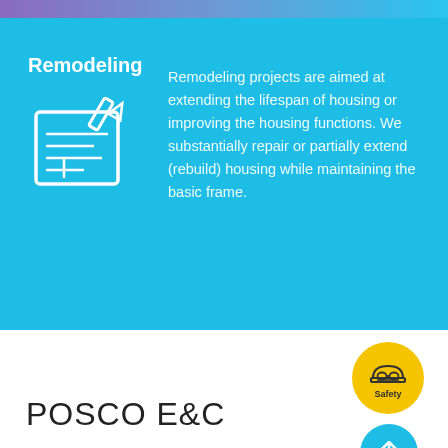Remodeling
[Figure (illustration): White line icon of a blueprint/drafting board with a pencil, on blue background]
Remodeling projects are aimed at extending the lifespan of housing or improving the housing functions. We substantially repair or partially extend (rebuild) housing while maintaining the basic frame.
[Figure (logo): Yellow circle button with hard hat icon labeled 'Safety']
[Figure (illustration): Blue circle button with up arrow labeled 'TOP']
POSCO E&C